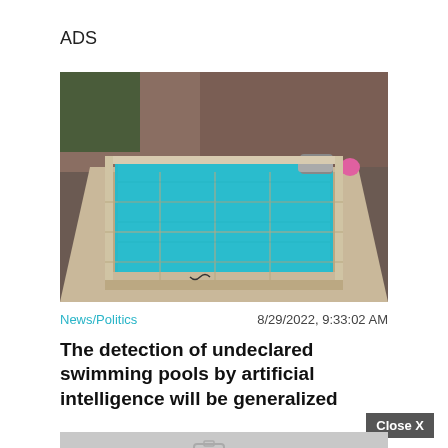ADS
[Figure (photo): Outdoor swimming pool with blue water and tan/beige tile surround, pool cover roller at far end, pink inflatable visible, brown wall in background]
News/Politics
8/29/2022, 9:33:02 AM
The detection of undeclared swimming pools by artificial intelligence will be generalized
Close X
[Figure (photo): Partially visible image below article title, grey placeholder]